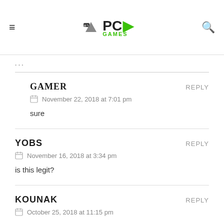PC Games logo with hamburger menu and search icon
...
GAMER
REPLY
November 22, 2018 at 7:01 pm
sure
YOBS
REPLY
November 16, 2018 at 3:34 pm
is this legit?
KOUNAK
REPLY
October 25, 2018 at 11:15 pm